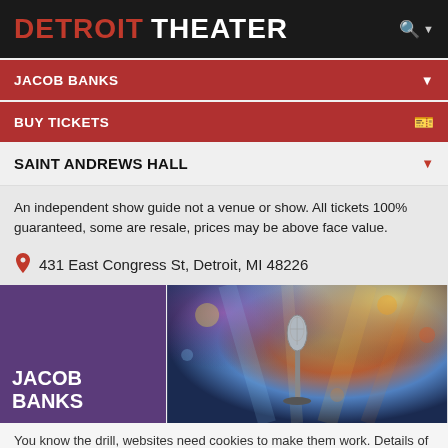DETROIT THEATER
JACOB BANKS
BUY TICKETS
SAINT ANDREWS HALL
An independent show guide not a venue or show. All tickets 100% guaranteed, some are resale, prices may be above face value.
431 East Congress St, Detroit, MI 48226
[Figure (photo): Event banner showing JACOB BANKS text on purple background left side and a concert stage with microphone and colored lights on the right side]
You know the drill, websites need cookies to make them work. Details of how we do it here.
Got it!